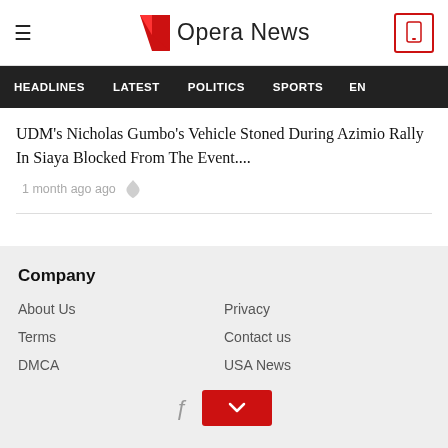Opera News
HEADLINES   LATEST   POLITICS   SPORTS   EN
UDM's Nicholas Gumbo's Vehicle Stoned During Azimio Rally In Siaya Blocked From The Event....
1 month ago ago
Company
About Us
Privacy
Terms
Contact us
DMCA
USA News